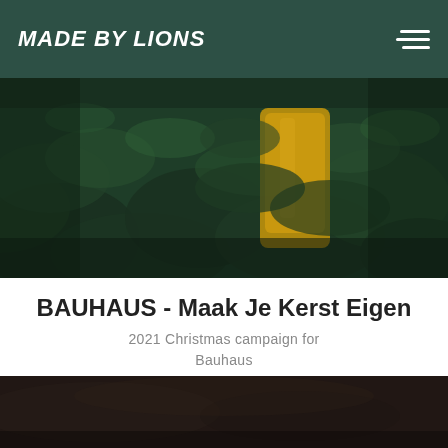MADE BY LIONS
[Figure (photo): Close-up photo of dark green pine/fir tree branches with a person in a yellow coat visible in the background]
BAUHAUS - Maak Je Kerst Eigen
2021 Christmas campaign for Bauhaus
[Figure (photo): Dark brown/black textured background, bottom portion of a campaign page]